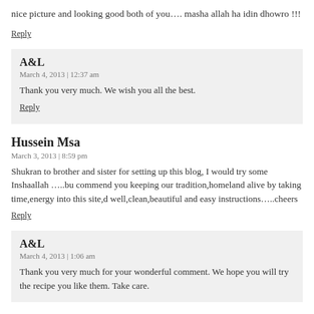nice picture and looking good both of you…. masha allah ha idin dhowro !!!
Reply
A&L
March 4, 2013 | 12:37 am
Thank you very much. We wish you all the best.
Reply
Hussein Msa
March 3, 2013 | 8:59 pm
Shukran to brother and sister for setting up this blog, I would try some Inshaallah …..bu commend you keeping our tradition,homeland alive by taking time,energy into this site,d well,clean,beautiful and easy instructions…..cheers
Reply
A&L
March 4, 2013 | 1:06 am
Thank you very much for your wonderful comment. We hope you will try the recipe you like them. Take care.